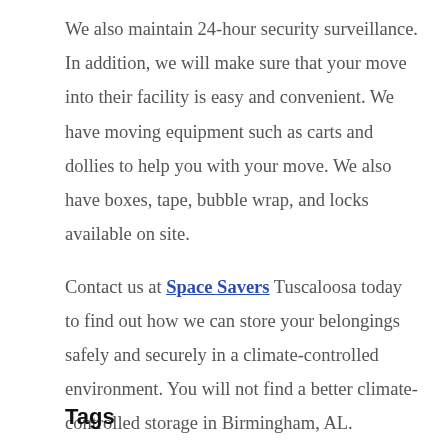We also maintain 24-hour security surveillance. In addition, we will make sure that your move into their facility is easy and convenient. We have moving equipment such as carts and dollies to help you with your move. We also have boxes, tape, bubble wrap, and locks available on site.
Contact us at Space Savers Tuscaloosa today to find out how we can store your belongings safely and securely in a climate-controlled environment. You will not find a better climate-controlled storage in Birmingham, AL.
Tags